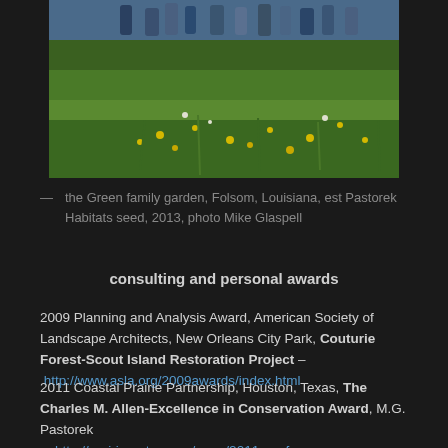[Figure (photo): Outdoor photo of people walking through a green meadow/garden with yellow wildflowers, viewed from behind, lush green vegetation filling the frame]
— the Green family garden, Folsom, Louisiana, est Pastorek Habitats seed, 2013, photo Mike Glaspell
consulting and personal awards
2009 Planning and Analysis Award, American Society of Landscape Architects, New Orleans City Park, Couturie Forest-Scout Island Restoration Project – http://www.asla.org/2009awards/index.html
2011 Coastal Prairie Partnership, Houston, Texas, The Charles M. Allen-Excellence in Conservation Award, M.G. Pastorek
http://prairiepartner.org/page/2011-conference-